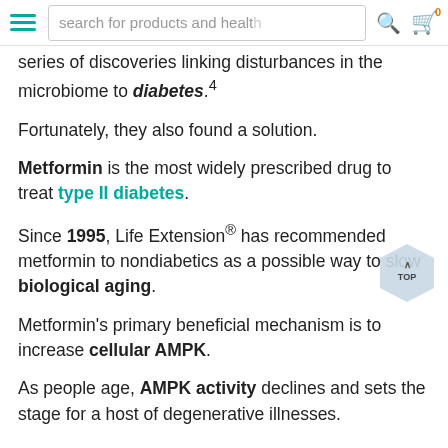search for products and health
series of discoveries linking disturbances in the microbiome to diabetes.4
Fortunately, they also found a solution.
Metformin is the most widely prescribed drug to treat type II diabetes.
Since 1995, Life Extension® has recommended metformin to nondiabetics as a possible way to slow biological aging.
Metformin's primary beneficial mechanism is to increase cellular AMPK.
As people age, AMPK activity declines and sets the stage for a host of degenerative illnesses.